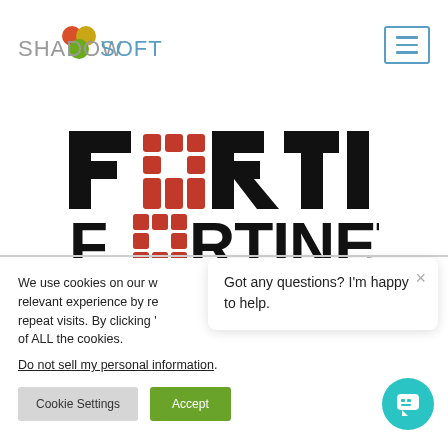[Figure (logo): ShadowSoft logo with colorful circular icon and text]
[Figure (logo): Fortinet logo in black and red]
We use cookies on our w... relevant experience by re... repeat visits. By clicking '... of ALL the cookies.
Do not sell my personal information.
Got any questions? I'm happy to help.